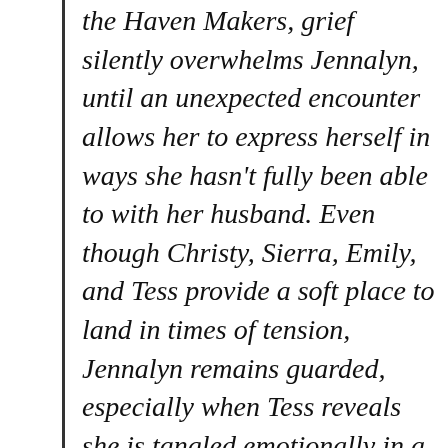the Haven Makers, grief silently overwhelms Jennalyn, until an unexpected encounter allows her to express herself in ways she hasn't fully been able to with her husband. Even though Christy, Sierra, Emily, and Tess provide a soft place to land in times of tension, Jennalyn remains guarded, especially when Tess reveals she is tangled emotionally in a relationship that was thorny from the start.
Will the two women open up and remain honest with the others in their Haven Makers group? Or will their hesitation to truly be known, faults and all, keep them